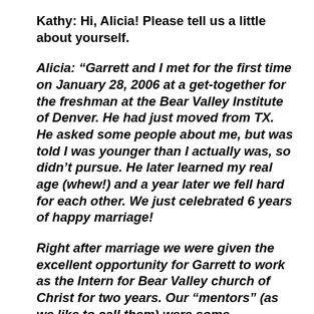Kathy:  Hi, Alicia!  Please tell us a little about yourself.
Alicia:  “Garrett and I met for the first time on January 28, 2006 at a get-together for the freshman at the Bear Valley Institute of Denver. He had just moved from TX. He asked some people about me, but was told I was younger than I actually was, so didn’t pursue.  He later learned my real age (whew!) and a year later we fell hard for each other. We just celebrated 6 years of happy marriage!
Right after marriage we were given the excellent opportunity for Garrett to work as the Intern for Bear Valley church of Christ for two years. Our “mentors” (as we like to call them) were some